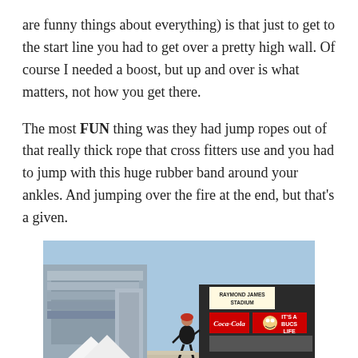are funny things about everything) is that just to get to the start line you had to get over a pretty high wall. Of course I needed a boost, but up and over is what matters, not how you get there.
The most FUN thing was they had jump ropes out of that really thick rope that cross fitters use and you had to jump with this huge rubber band around your ankles. And jumping over the fire at the end, but that's a given.
[Figure (photo): Outdoor photo at Raymond James Stadium showing a person running in a race event. A scoreboard/billboard sign reads 'Raymond James Stadium' and 'IT'S A BUCS LIFE' with Coca-Cola and other logos visible. Stadium structure and white tents in background, clear blue sky.]